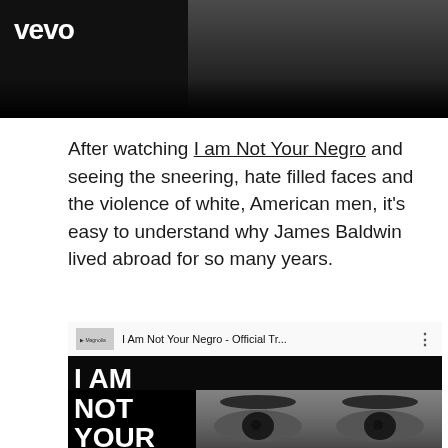[Figure (screenshot): Vevo video screenshot showing a dark image with 'vevo' logo in white on the top left, and a partially visible person in background]
After watching I am Not Your Negro and seeing the sneering, hate filled faces and the violence of white, American men, it's easy to understand why James Baldwin lived abroad for so many years.
[Figure (screenshot): YouTube video thumbnail for 'I Am Not Your Negro - Official Tr...' showing bold white text 'I AM NOT YOUR NEGRO' on the left, close-up of eyes on the right top, and YouTube play button with 'BALDWIN DIRECTED BY RAOUL PECK' text below]